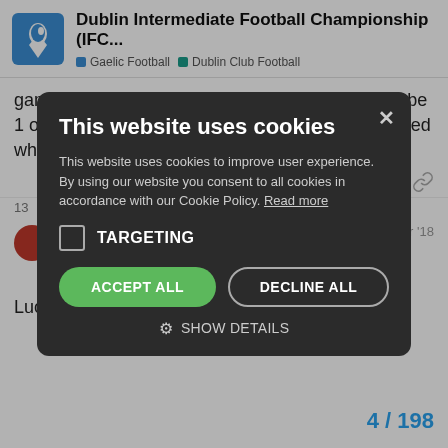Dublin Intermediate Football Championship (IFC... | Gaelic Football | Dublin Club Football
games and others only one??..I thought it was to be 1 of each (home,away, neutral)…how was it decided who got the two home games??
[Figure (screenshot): Cookie consent modal dialog with dark background showing: title 'This website uses cookies', body text about cookie policy, TARGETING checkbox (unchecked), ACCEPT ALL green button, DECLINE ALL outlined button, and SHOW DETAILS option with gear icon. Modal overlays the page content.]
there's a good bit of er this week a
Apr '18
ry above re h ...
Luck of the draw?? Would seem fairly arbi
4 / 198